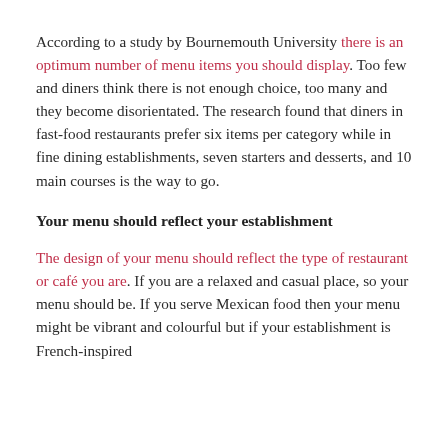According to a study by Bournemouth University there is an optimum number of menu items you should display. Too few and diners think there is not enough choice, too many and they become disorientated. The research found that diners in fast-food restaurants prefer six items per category while in fine dining establishments, seven starters and desserts, and 10 main courses is the way to go.
Your menu should reflect your establishment
The design of your menu should reflect the type of restaurant or café you are. If you are a relaxed and casual place, so your menu should be. If you serve Mexican food then your menu might be vibrant and colourful but if your establishment is French-inspired the…